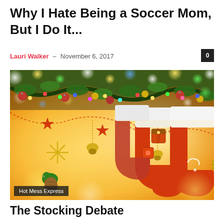Why I Hate Being a Soccer Mom, But I Do It...
Lauri Walker – November 6, 2017
[Figure (photo): Christmas mantel decorated with hanging stockings, garland, colorful bokeh lights, ornaments, stars, and snowflake decorations against a warm glowing background.]
Hot Mess Express
The Stocking Debate